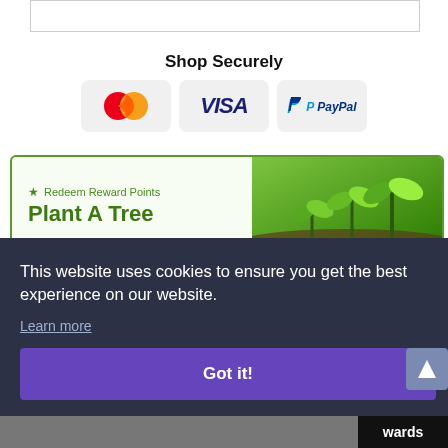[Figure (screenshot): Top border/input box area]
Shop Securely
[Figure (logo): Mastercard, Visa, PayPal payment icons]
[Figure (infographic): Redeem Reward Points banner — Plant A Tree — with seedling photo]
This website uses cookies to ensure you get the best experience on our website.
Learn more
Got it!